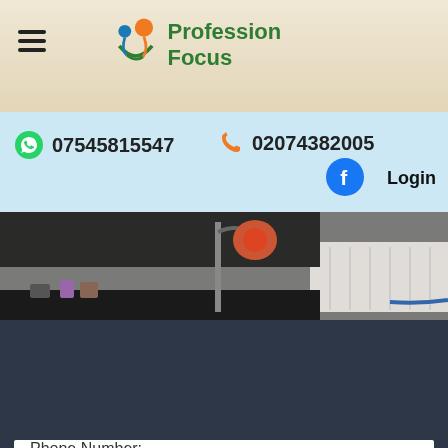[Figure (logo): Profession Focus logo with circular figures in orange and blue/green, text 'Profession Focus' in green]
07545815547
02074382005
Login
[Figure (photo): Medical examination room with dental/medical mannequin head on a stand with a lamp, various medical supplies on a black table, white radiator in background]
First & Last Name:
Email Address: